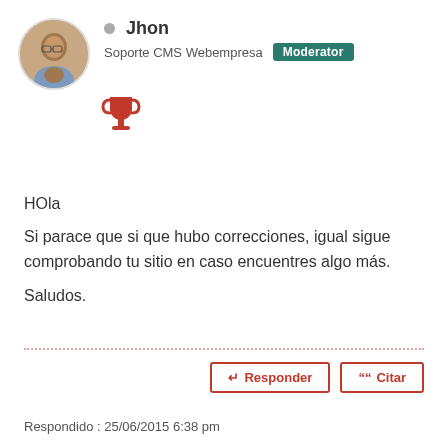[Figure (photo): Circular avatar photo of a man with glasses]
Jhon
Soporte CMS Webempresa  Moderator
[Figure (illustration): Red trophy icon]
HOla
Si parace que si que hubo correcciones, igual sigue comprobando tu sitio en caso encuentres algo más.
Saludos.
↵ Responder   ““ Citar
Respondido : 25/06/2015 6:38 pm